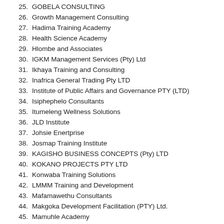25. GOBELA CONSULTING
26. Growth Management Consulting
27. Hadima Training Academy
28. Health Science Academy
29. Hlombe and Associates
30. IGKM Management Services (Pty) Ltd
31. Ikhaya Training and Consulting
32. Inafrica General Trading Pty LTD
33. Institute of Public Affairs and Governance PTY (LTD)
34. Isiphephelo Consultants
35. Itumeleng Wellness Solutions
36. JLD Institute
37. Johsie Enertprise
38. Josmap Training Institute
39. KAGISHO BUSINESS CONCEPTS (Pty) LTD
40. KOKANO PROJECTS PTY LTD
41. Konwaba Training Solutions
42. LMMM Training and Development
43. Mafamawethu Consultants
44. Makgoka Development Facilitation (PTY) Ltd.
45. Mamuhle Academy
46. Management College of Southern Africa (MANCOSA)
47. Maritime Business Institute
48. MARS Business Consulting
49. Matibidi Raphela Investments (Pty) LTD
50. Mission Point Consulting
51. MJ Mafunisa Consulting (PTY) LTD